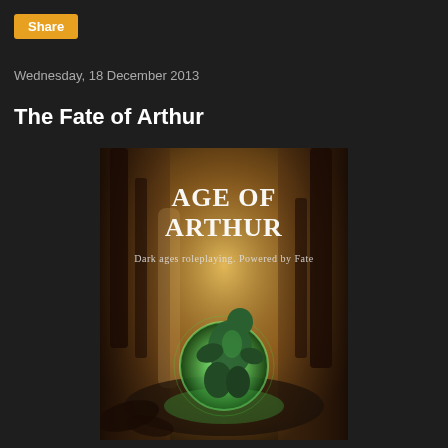Share
Wednesday, 18 December 2013
The Fate of Arthur
[Figure (illustration): Book cover for 'Age of Arthur: Dark ages roleplaying, Powered by Fate'. Shows a figure in green armor crouching over a glowing orb in a misty forest setting with warm amber/orange tones.]